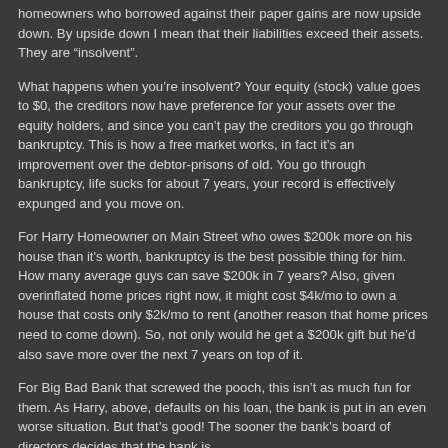homeowners who borrowed against their paper gains are now upside down. By upside down I mean that their liabilities exceed their assets. They are “insolvent”.
What happens when you’re insolvent? Your equity (stock) value goes to $0, the creditors now have preference for your assets over the equity holders, and since you can’t pay the creditors you go through bankruptcy. This is how a free market works, in fact it’s an improvement over the debtor-prisons of old. You go through bankruptcy, life sucks for about 7 years, your record is effectively expunged and you move on.
For Harry Homeowner on Main Street who owes $200k more on his house than it's worth, bankruptcy is the best possible thing for him. How many average guys can save $200k in 7 years? Also, given overinflated home prices right now, it might cost $4k/mo to own a house that costs only $2k/mo to rent (another reason that home prices need to come down). So, not only would he get a $200k gift but he’d also save more over the next 7 years on top of it.
For Big Bad Bank that screwed the pooch, this isn’t as much fun for them. As Harry, above, defaults on his loan, the bank is put in an even worse situation. But that’s good! The sooner the bank’s board of directors decides that the bank is